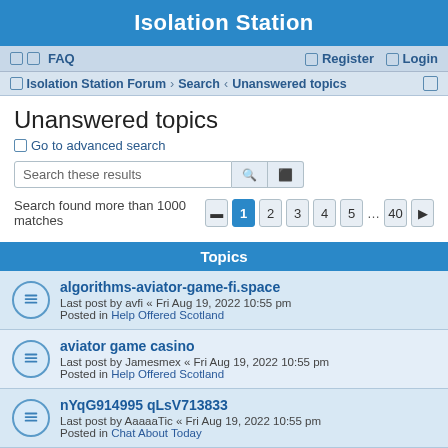Isolation Station
FAQ  Register  Login
Isolation Station Forum › Search › Unanswered topics
Unanswered topics
Go to advanced search
Search these results
Search found more than 1000 matches  1  2  3  4  5  ...  40
Topics
algorithms-aviator-game-fi.space
Last post by avfi « Fri Aug 19, 2022 10:55 pm
Posted in Help Offered Scotland
aviator game casino
Last post by Jamesmex « Fri Aug 19, 2022 10:55 pm
Posted in Help Offered Scotland
nYqG914995 qLsV713833
Last post by AaaaaTic « Fri Aug 19, 2022 10:55 pm
Posted in Chat About Today
iLrW308803 nXtS625343
Last post by Anon · Fri Aug 19, 2022 10:55...